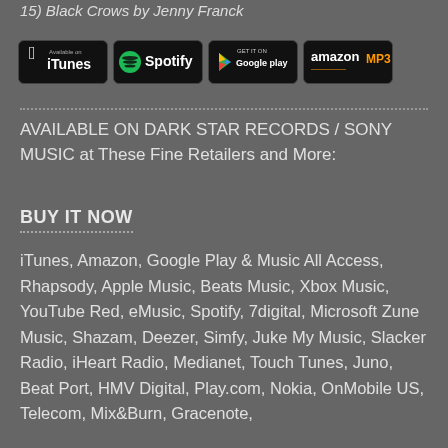15) Black Crows by Jenny Franck
[Figure (logo): Store badges: iTunes, Spotify, Google Play, Amazon MP3]
AVAILABLE ON DARK STAR RECORDS / SONY MUSIC at These Fine Retailers and More:
BUY IT NOW
iTunes, Amazon, Google Play & Music All Access, Rhapsody, Apple Music, Beats Music, Xbox Music, YouTube Red, eMusic, Spotify, 7digital, Microsoft Zune Music, Shazam, Deezer, Simfy, Juke My Music, Slacker Radio, iHeart Radio, Medianet, Touch Tunes, Juno, Beat Port, HMV Digital, Play.com, Nokia, OnMobile US, Telecom, Mix&Burn, Gracenote,